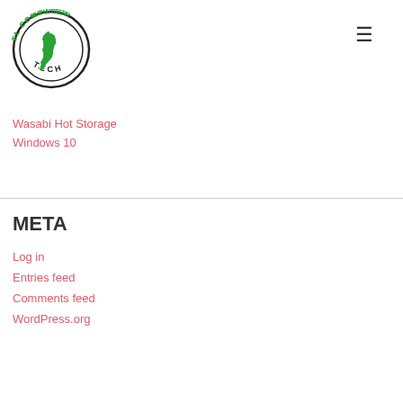[Figure (logo): FL Computer Tech circular logo with green Florida state outline and green/black text reading FL COMPUTER TECH]
Wasabi Hot Storage
Windows 10
META
Log in
Entries feed
Comments feed
WordPress.org